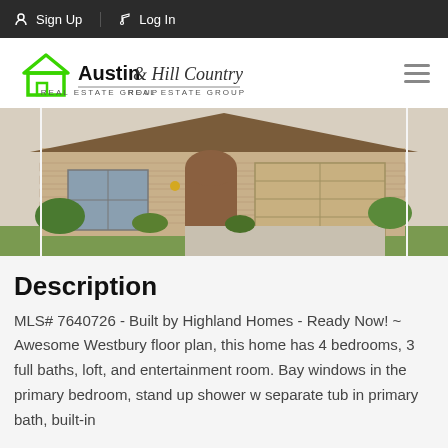Sign Up  Log In
[Figure (logo): Austin & Hill Country Real Estate Group logo with green house outline and hamburger menu icon]
[Figure (photo): Exterior photo of a new construction single-story home with stone facade, arched entryway, two-car garage, and landscaped front yard]
Description
MLS# 7640726 - Built by Highland Homes - Ready Now! ~ Awesome Westbury floor plan, this home has 4 bedrooms, 3 full baths, loft, and entertainment room. Bay windows in the primary bedroom, stand up shower w separate tub in primary bath, built-in